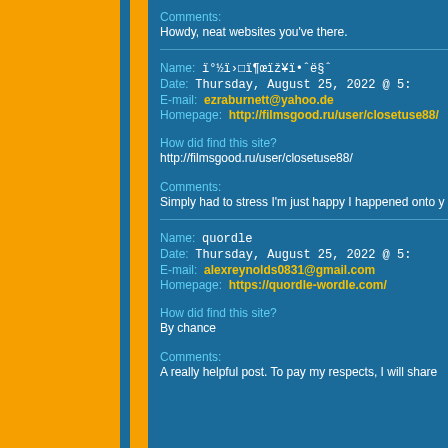Comments: Howdy, neat websites you've there.
Name: ï°½ï›□ï¶œïž¥ï•ˆë§ˆ
Date: Thursday, August 25, 2022 @ 5:
E-mail: ezraburnett@yahoo.de
Homepage: http://filmsgood.ru/user/closetuse88/
How did find this site?
http://filmsgood.ru/user/closetuse88/
Comments:
Simply had to stress I'm just happy I happened onto y
Name: quordle
Date: Thursday, August 25, 2022 @ 5:
E-mail: alexreynolds0831@gmail.com
Homepage: https://quordle-wordle.com/
How did find this site?
By chance
Comments:
A really helpful post. To pay my respects, I will share